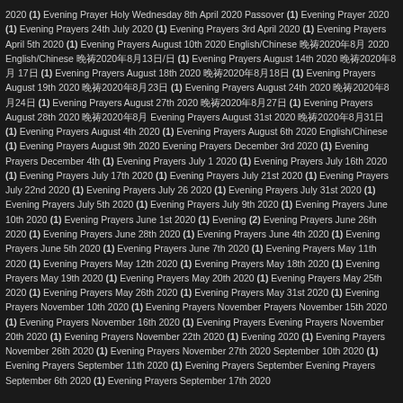2020 (1) Evening Prayer Holy Wednesday 8th April 2020 Passover (1) Evening Prayer 2020 (1) Evening Prayers 24th July 2020 (1) Evening Prayers 3rd April 2020 (1) Evening Prayers April 5th 2020 (1) Evening Prayers August 10th 2020 English/Chinese 晚祷2020年8月 2020 English/Chinese 晚祷2020年8月13日/日 (1) Evening Prayers August 14th 2020 晚祷2020年8月 17日 (1) Evening Prayers August 18th 2020 晚祷2020年8月18日 (1) Evening Prayers August 19th 2020 晚祷2020年8月23日 (1) Evening Prayers August 24th 2020 晚祷2020年8月24日 (1) Evening Prayers August 27th 2020 晚祷2020年8月27日 (1) Evening Prayers August 28th 2020 晚祷2020年8 Evening Prayers August 31st 2020 晚祷2020年8月31日 (1) Evening Prayers August 4th 2020 (1) Evening Prayers August 6th 2020 English/Chinese (1) Evening Prayers August 9th 2020 Evening Prayers December 3rd 2020 (1) Evening Prayers December 4th (1) Evening Prayers July 1 2020 (1) Evening Prayers July 16th 2020 (1) Evening Prayers July 17th 2020 (1) Evening Prayers July 21st 2020 (1) Evening Prayers July 22nd 2020 (1) Evening Prayers July 26 2020 (1) Evening Prayers July 31st 2020 (1) Evening Prayers July 5th 2020 (1) Evening Prayers July 9th 2020 (1) Evening Prayers June 10th 2020 (1) Evening Prayers June 1st 2020 (1) Evening (2) Evening Prayers June 26th 2020 (1) Evening Prayers June 28th 2020 (1) Evening Prayers June 4th 2020 (1) Evening Prayers June 5th 2020 (1) Evening Prayers June 7th 2020 (1) Evening Prayers May 11th 2020 (1) Evening Prayers May 12th 2020 (1) Evening Prayers May 18th 2020 (1) Evening Prayers May 19th 2020 (1) Evening Prayers May 20th 2020 (1) Evening Prayers May 25th 2020 (1) Evening Prayers May 26th 2020 (1) Evening Prayers May 31st 2020 (1) Evening Prayers November 10th 2020 (1) Evening Prayers November Prayers November 15th 2020 (1) Evening Prayers November 16th 2020 (1) Evening Prayers Evening Prayers November 20th 2020 (1) Evening Prayers November 22th 2020 (1) Evening 2020 (1) Evening Prayers November 26th 2020 (1) Evening Prayers November 27th 2020 September 10th 2020 (1) Evening Prayers September 11th 2020 (1) Evening Prayers September Evening Prayers September 6th 2020 (1) Evening Prayers September 17th 2020